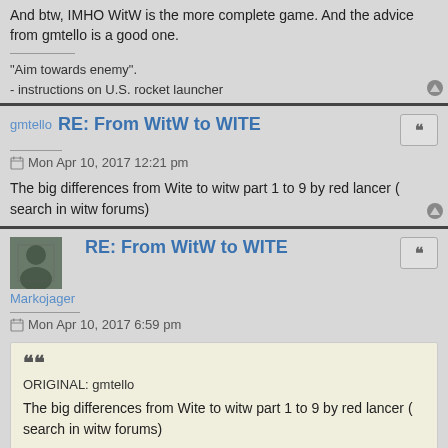And btw, IMHO WitW is the more complete game. And the advice from gmtello is a good one.
"Aim towards enemy".
- instructions on U.S. rocket launcher
gmtello RE: From WitW to WITE
Mon Apr 10, 2017 12:21 pm
The big differences from Wite to witw part 1 to 9 by red lancer ( search in witw forums)
Markojager RE: From WitW to WITE
Mon Apr 10, 2017 6:59 pm
ORIGINAL: gmtello
The big differences from Wite to witw part 1 to 9 by red lancer ( search in witw forums)